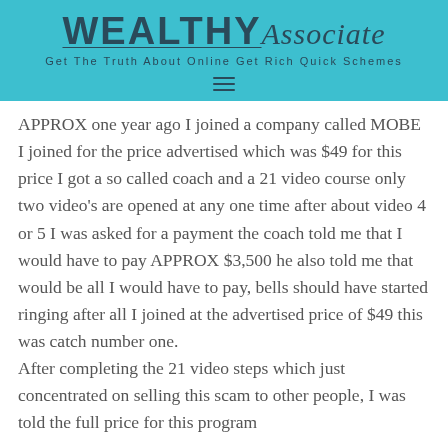[Figure (logo): Wealthy Associate logo with tagline 'Get The Truth About Online Get Rich Quick Schemes' on a teal/cyan header bar, with a hamburger menu icon below]
APPROX one year ago I joined a company called MOBE I joined for the price advertised which was $49 for this price I got a so called coach and a 21 video course only two video's are opened at any one time after about video 4 or 5 I was asked for a payment the coach told me that I would have to pay APPROX $3,500 he also told me that would be all I would have to pay, bells should have started ringing after all I joined at the advertised price of $49 this was catch number one.
After completing the 21 video steps which just concentrated on selling this scam to other people, I was told the full price for this program